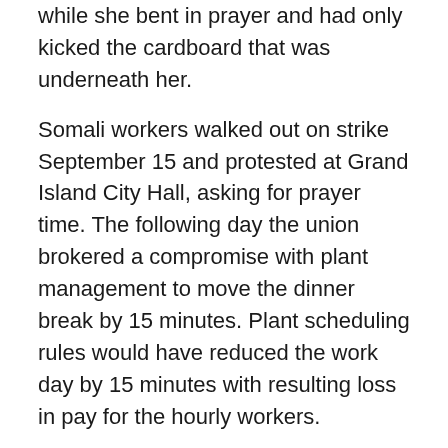while she bent in prayer and had only kicked the cardboard that was underneath her.
Somali workers walked out on strike September 15 and protested at Grand Island City Hall, asking for prayer time. The following day the union brokered a compromise with plant management to move the dinner break by 15 minutes. Plant scheduling rules would have reduced the work day by 15 minutes with resulting loss in pay for the hourly workers.
A Somali worker, Abdalla Omar, told the press "We had complaints from the whites, Hispanics and [Christian] Sudanese". False rumors spread about further cuts to the work day and preferential concessions to the Somalis. Over 1,000 non-Somalis staged a counterprotest on September 17. Union and management returned to the original dinner schedule. Substantial numbers of Somali workers left the plant after a clash with non-Somali